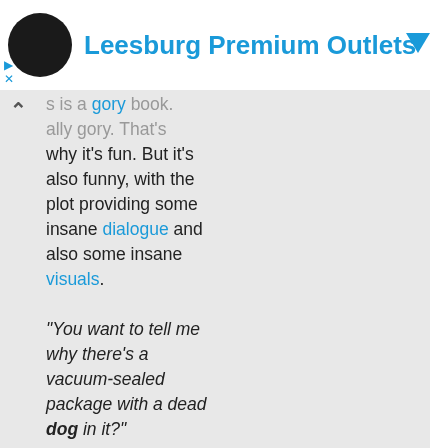[Figure (other): Ad banner for Leesburg Premium Outlets with avatar/logo, title text, and blue arrow icon]
s is a gory book. ally gory. That's why it's fun. But it's also funny, with the plot providing some insane dialogue and also some insane visuals.

"You want to tell me why there's a vacuum-sealed package with a dead dog in it?"

The art is cartoony without being too silly, and emphasises the larger than life story perfectly. There's attempts to be clever, such as the use of a fade in for a visual gag setting up the same effect for a plot point later, and mixing in the prologue with the huge double page flashback so we can